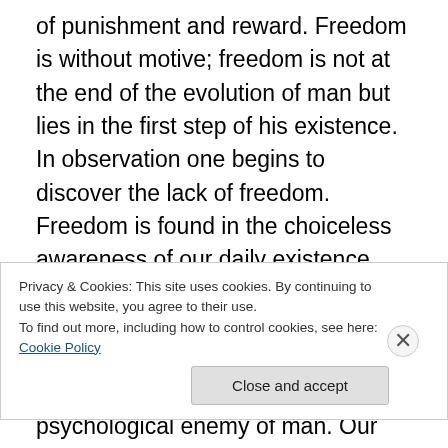of punishment and reward. Freedom is without motive; freedom is not at the end of the evolution of man but lies in the first step of his existence. In observation one begins to discover the lack of freedom. Freedom is found in the choiceless awareness of our daily existence and activity. Thought is time. Thought is born of experience and knowledge which are inseparable from time and the past. Time is the psychological enemy of man. Our action is based on knowledge and therefore time, so man is always a slave to the past. Thought is ever-limited and so we live in constant conflict and struggle. There is no psychological
Privacy & Cookies: This site uses cookies. By continuing to use this website, you agree to their use.
To find out more, including how to control cookies, see here: Cookie Policy